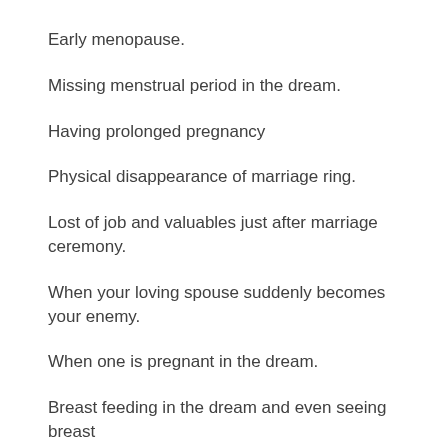Early menopause.
Missing menstrual period in the dream.
Having prolonged pregnancy
Physical disappearance of marriage ring.
Lost of job and valuables just after marriage ceremony.
When your loving spouse suddenly becomes your enemy.
When one is pregnant in the dream.
Breast feeding in the dream and even seeing breast